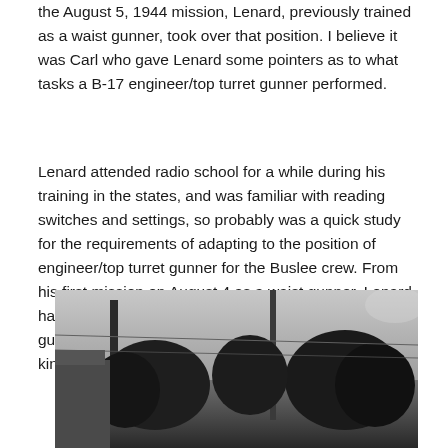the August 5, 1944 mission, Lenard, previously trained as a waist gunner, took over that position. I believe it was Carl who gave Lenard some pointers as to what tasks a B-17 engineer/top turret gunner performed.
Lenard attended radio school for a while during his training in the states, and was familiar with reading switches and settings, so probably was a quick study for the requirements of adapting to the position of engineer/top turret gunner for the Buslee crew. From his first mission on August 4 as a waist gunner, Lenard had only five days to figure out his new job as top turret gunner on the August 9 mission, not much time for any kind of formal training.
[Figure (photo): Black and white outdoor photograph showing trees and structures, partially cropped at the bottom of the page.]